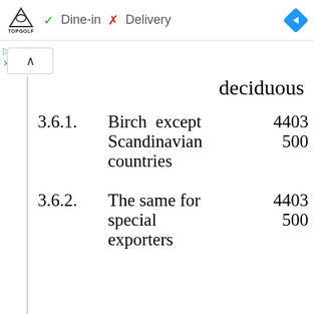[Figure (screenshot): Browser UI bar showing Topgolf logo, Dine-in with green checkmark, Delivery with red X, and a blue navigation diamond icon]
deciduous
3.6.1.    Birch except Scandinavian countries    4403 500
3.6.2.    The same for special exporters    4403 500